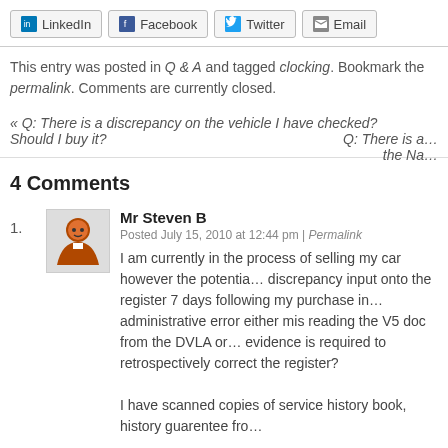[Figure (other): Social share buttons: LinkedIn, Facebook, Twitter, Email]
This entry was posted in Q & A and tagged clocking. Bookmark the permalink. Comments are currently closed.
« Q: There is a discrepancy on the vehicle I have checked? Should I buy it?     Q: There is a … the Na…
4 Comments
1. Mr Steven B — Posted July 15, 2010 at 12:44 pm | Permalink — I am currently in the process of selling my car however the potential discrepancy input onto the register 7 days following my purchase in administrative error either mis reading the V5 doc from the DVLA or evidence is required to retrospectively correct the register? — I have scanned copies of service history book, history guarentee fro…